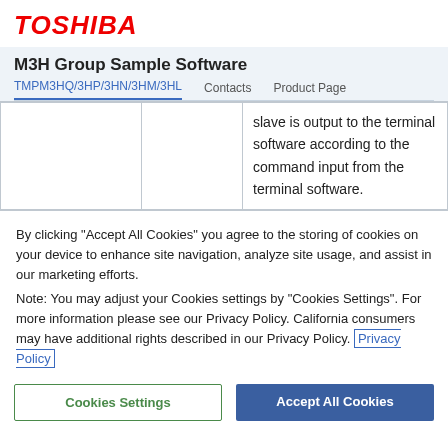TOSHIBA
M3H Group Sample Software
TMPM3HQ/3HP/3HN/3HM/3HL | Contacts | Product Page
|  |  | slave is output to the terminal software according to the command input from the terminal software. |
By clicking “Accept All Cookies” you agree to the storing of cookies on your device to enhance site navigation, analyze site usage, and assist in our marketing efforts.
Note: You may adjust your Cookies settings by “Cookies Settings”. For more information please see our Privacy Policy. California consumers may have additional rights described in our Privacy Policy. Privacy Policy
Cookies Settings | Accept All Cookies